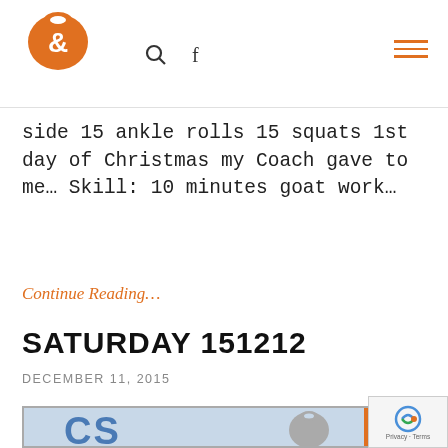[Figure (logo): Orange kettlebell logo with ampersand symbol]
side 15 ankle rolls 15 squats 1st day of Christmas my Coach gave to me… Skill: 10 minutes goat work…
Continue Reading...
SATURDAY 151212
DECEMBER 11, 2015
[Figure (logo): CrossFit or gym brand logo with CS and kettlebell graphic, partially visible at bottom of page]